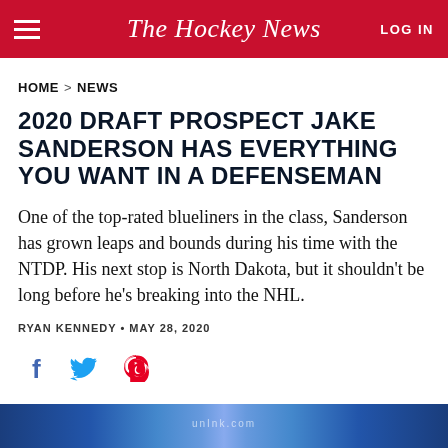The Hockey News
HOME > NEWS
2020 DRAFT PROSPECT JAKE SANDERSON HAS EVERYTHING YOU WANT IN A DEFENSEMAN
One of the top-rated blueliners in the class, Sanderson has grown leaps and bounds during his time with the NTDP. His next stop is North Dakota, but it shouldn't be long before he's breaking into the NHL.
RYAN KENNEDY • MAY 28, 2020
[Figure (other): Social sharing icons: Facebook, Twitter, Pinterest]
[Figure (photo): Partial image strip at bottom of page]